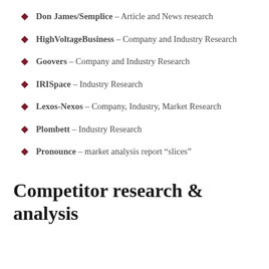Don James/Semplice – Article and News research
HighVoltageBusiness – Company and Industry Research
Goovers – Company and Industry Research
IRISpace – Industry Research
Lexos-Nexos – Company, Industry, Market Research
Plombett – Industry Research
Pronounce – market analysis report “slices”
Competitor research & analysis